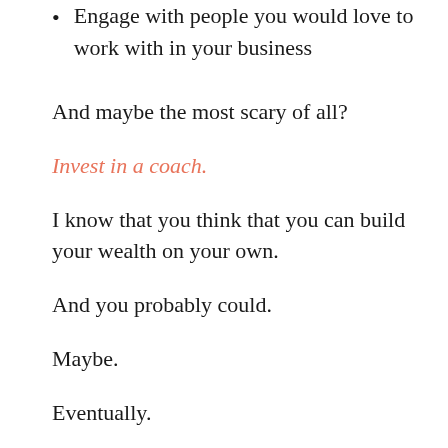Engage with people you would love to work with in your business
And maybe the most scary of all?
Invest in a coach.
I know that you think that you can build your wealth on your own.
And you probably could.
Maybe.
Eventually.